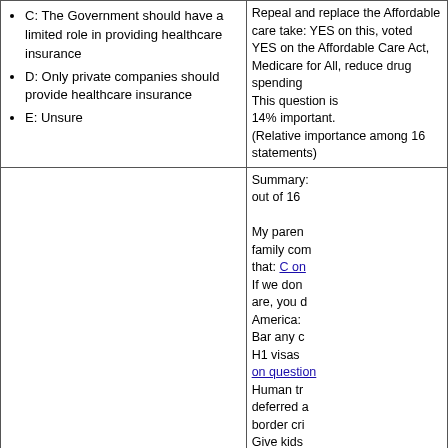C: The Government should have a limited role in providing healthcare insurance
D: Only private companies should provide healthcare insurance
E: Unsure
Repeal and replace the Affordable care take: YES on this, voted YES on the Affordable Care Act, Medicare for All, reduce drug spending This question is 14% important. (Relative importance among 16 statements)
Summary: out of 16
My parent family compared that: C on... If we don are, you d America: Bar any c H1 visas on question Human tr deferred a border cri Give kids immigran rates: B o Legal sta citizenshi children: Don't cou immigran
Question 4 answer C on Immigration:
When you think about illegal immigration, which of the following solutions some...